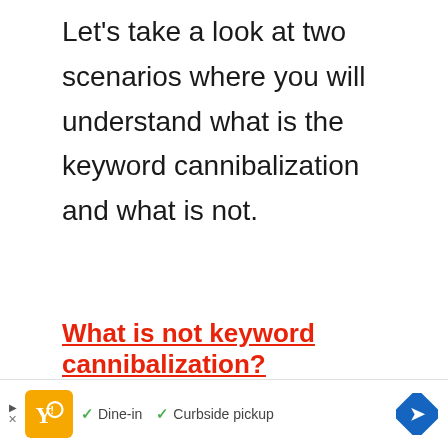Let's take a look at two scenarios where you will understand what is the keyword cannibalization and what is not.
What is not keyword cannibalization?
[Figure (other): Advertisement banner at the bottom of the page showing a restaurant ad with orange logo icon, checkmarks for 'Dine-in' and 'Curbside pickup', and a blue diamond navigation arrow on the right.]